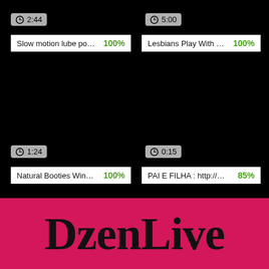2:44
Slow motion lube po... 100%
5:00
Lesbians Play With ... 100%
1:24
Natural Booties Win... 100%
0:15
PAI E FILHA : http://... 85%
DzenLive